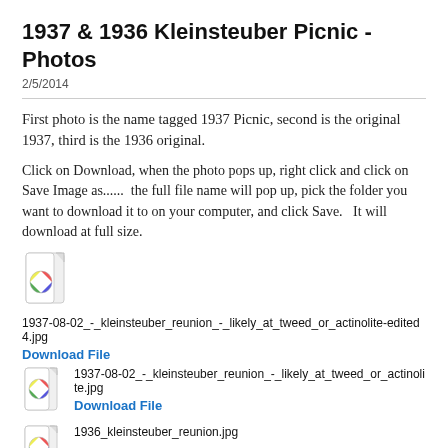1937 & 1936 Kleinsteuber Picnic - Photos
2/5/2014
First photo is the name tagged 1937 Picnic, second is the original 1937, third is the 1936 original.
Click on Download, when the photo pops up, right click and click on Save Image as......  the full file name will pop up, pick the folder you want to download it to on your computer, and click Save.   It will download at full size.
[Figure (illustration): File icon with colorful circle (image file icon)]
1937-08-02_-_kleinsteuber_reunion_-_likely_at_tweed_or_actinolite-edited4.jpg
Download File
[Figure (illustration): File icon with colorful circle (image file icon)]
1937-08-02_-_kleinsteuber_reunion_-_likely_at_tweed_or_actinolite.jpg
Download File
[Figure (illustration): File icon with colorful circle (image file icon)]
1936_kleinsteuber_reunion.jpg